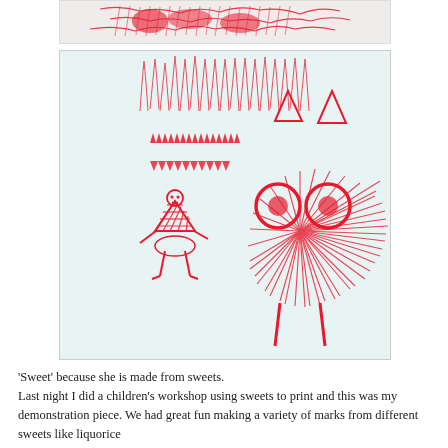[Figure (illustration): Partial view of a red ink print artwork showing abstract marks at the top of the page]
[Figure (illustration): Child's red ink print artwork on pale blue-grey background showing Little Red Riding Hood as a small figure in a striped hood on the left, and a large wolf with radiating fur lines, big round eyes, and jagged teeth on the right. All drawn in red ink using sweets as printing tools.]
'Sweet' because she is made from sweets.
Last night I did a children's workshop using sweets to print and this was my demonstration piece. We had great fun making a variety of marks from different sweets like liquorice allsorts, wine gums, gummy bears and strawberry laces. It